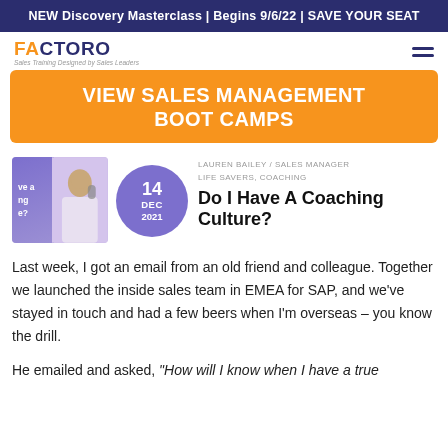NEW Discovery Masterclass | Begins 9/6/22 | SAVE YOUR SEAT
[Figure (logo): Factor8 logo with tagline 'Sales Training Designed by Sales Leaders']
VIEW SALES MANAGEMENT BOOT CAMPS
[Figure (photo): Blog post thumbnail with purple overlay text and a woman on a phone call]
14 DEC 2021
LAUREN BAILEY /  SALES MANAGER LIFE SAVERS, COACHING
Do I Have A Coaching Culture?
Last week, I got an email from an old friend and colleague. Together we launched the inside sales team in EMEA for SAP, and we've stayed in touch and had a few beers when I'm overseas – you know the drill.
He emailed and asked, "How will I know when I have a true